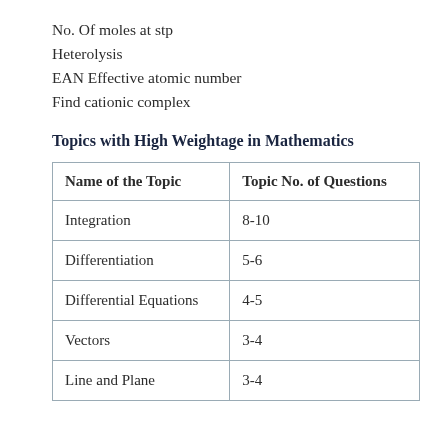No. Of moles at stp
Heterolysis
EAN Effective atomic number
Find cationic complex
Topics with High Weightage in Mathematics
| Name of the Topic | Topic No. of Questions |
| --- | --- |
| Integration | 8-10 |
| Differentiation | 5-6 |
| Differential Equations | 4-5 |
| Vectors | 3-4 |
| Line and Plane | 3-4 |